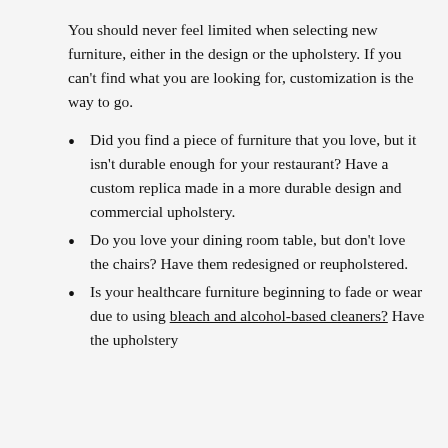You should never feel limited when selecting new furniture, either in the design or the upholstery. If you can't find what you are looking for, customization is the way to go.
Did you find a piece of furniture that you love, but it isn't durable enough for your restaurant? Have a custom replica made in a more durable design and commercial upholstery.
Do you love your dining room table, but don't love the chairs? Have them redesigned or reupholstered.
Is your healthcare furniture beginning to fade or wear due to using bleach and alcohol-based cleaners? Have the upholstery